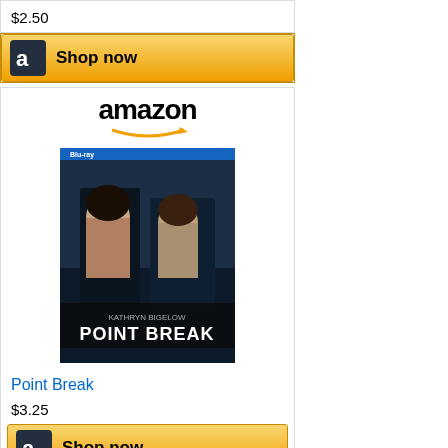$2.50
[Figure (screenshot): Amazon Shop now button with Amazon logo]
[Figure (screenshot): Amazon product listing card for Point Break Blu-ray with Amazon logo, product image, title link, price $3.25, and Shop now button]
[Figure (screenshot): Amazon product listing card for Haywire with Amazon logo and product image (partially visible)]